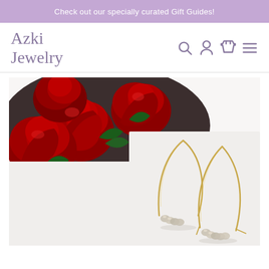Check out our specially curated Gift Guides!
Azki Jewelry
[Figure (photo): Product photo of gold wire hoop earrings with small grey crystal beads at the bottom, displayed against a white background with red roses in the upper left corner]